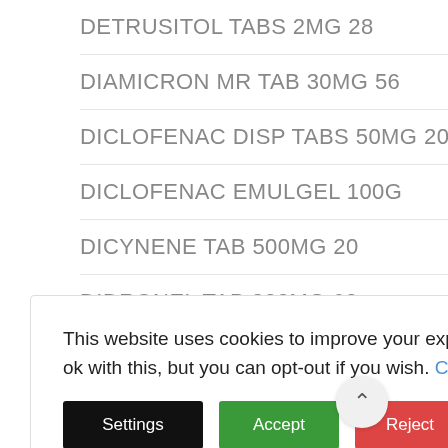DETRUSITOL TABS 2MG 28
DIAMICRON MR TAB 30MG 56
DICLOFENAC DISP TABS 50MG 20
DICLOFENAC EMULGEL 100G
DICYNENE TAB 500MG 20
DIDRONEL TAB 200MG 60
DIFFERIN CREAM 30G
DIFFERIN GEL 0.1% 30G
DIFLUCAN CAP 150MG SINGLE
This website uses cookies to improve your experience. We'll assume you're ok with this, but you can opt-out if you wish. Cookie Policy